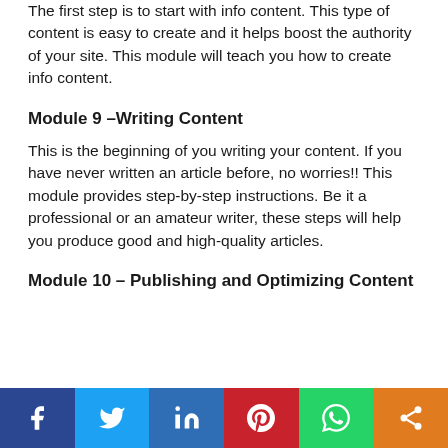The first step is to start with info content. This type of content is easy to create and it helps boost the authority of your site. This module will teach you how to create info content.
Module 9 –Writing Content
This is the beginning of you writing your content. If you have never written an article before, no worries!! This module provides step-by-step instructions. Be it a professional or an amateur writer, these steps will help you produce good and high-quality articles.
Module 10 – Publishing and Optimizing Content
[Figure (infographic): Social sharing bar with six buttons: Facebook (blue), Twitter (light blue), LinkedIn (blue), Pinterest (red), WhatsApp (green), Share (orange)]